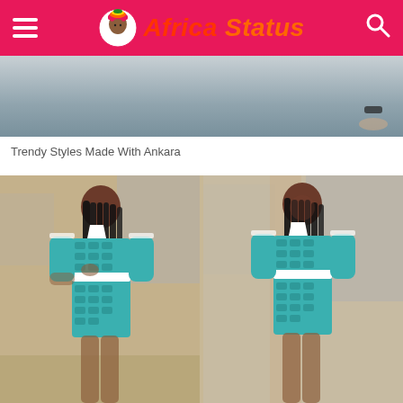Africa Status
[Figure (photo): Top portion of a photo showing feet/sandals at the top, outdoor background]
Trendy Styles Made With Ankara
[Figure (photo): Two side-by-side photos of a young woman wearing a teal/white Ankara kimono-style dress with a white belt and long braided hair — left photo she looks down, right photo she smiles at camera]